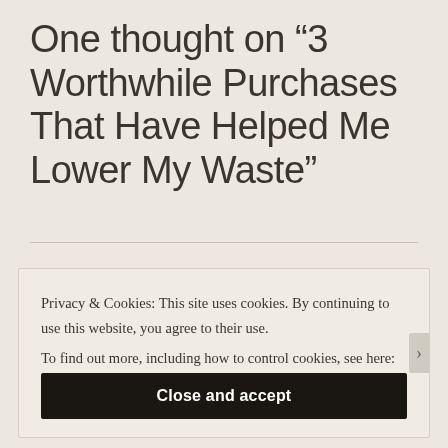One thought on “3 Worthwhile Purchases That Have Helped Me Lower My Waste”
Privacy & Cookies: This site uses cookies. By continuing to use this website, you agree to their use.
To find out more, including how to control cookies, see here: Cookie Policy.
Close and accept